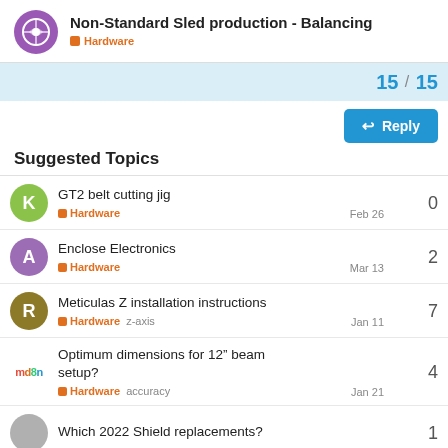Non-Standard Sled production - Balancing | Hardware
15 / 15
Reply
Suggested Topics
GT2 belt cutting jig | Hardware | 0 | Feb 26
Enclose Electronics | Hardware | 2 | Mar 13
Meticulas Z installation instructions | Hardware z-axis | 7 | Jan 11
Optimum dimensions for 12" beam setup? | Hardware accuracy | 4 | Jan 21
Which 2022 Shield replacements?